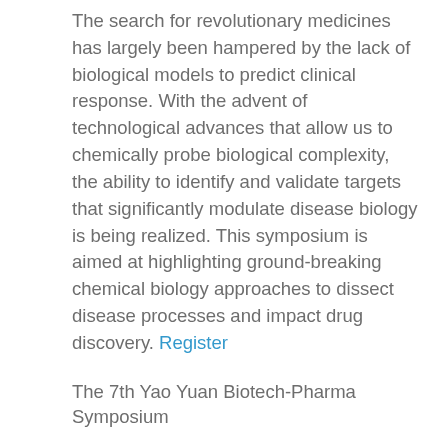The search for revolutionary medicines has largely been hampered by the lack of biological models to predict clinical response. With the advent of technological advances that allow us to chemically probe biological complexity, the ability to identify and validate targets that significantly modulate disease biology is being realized. This symposium is aimed at highlighting ground-breaking chemical biology approaches to dissect disease processes and impact drug discovery. Register
The 7th Yao Yuan Biotech-Pharma Symposium
At the Interface of Chemistry & Biology for Drug Discovery
Time: April 18, 2015